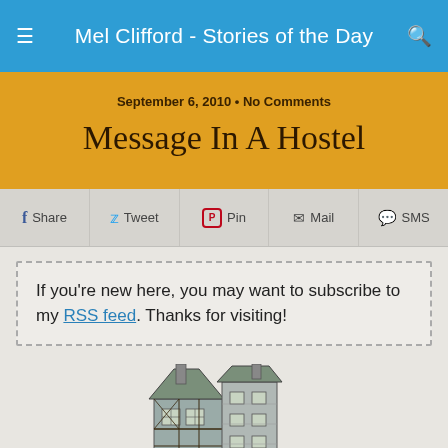Mel Clifford - Stories of the Day
September 6, 2010 • No Comments
Message In A Hostel
Share  Tweet  Pin  Mail  SMS
If you're new here, you may want to subscribe to my RSS feed. Thanks for visiting!
[Figure (illustration): Medieval-style building/hostel illustration showing two attached stone and timber-framed multi-storey buildings with pointed roofs and chimneys]